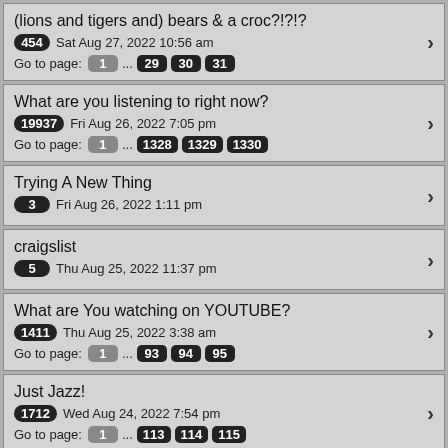(lions and tigers and) bears & a croc?!?!? | 454 | Sat Aug 27, 2022 10:56 am | Go to page: 1 ... 29 30 31
What are you listening to right now? | 19937 | Fri Aug 26, 2022 7:05 pm | Go to page: 1 ... 1328 1329 1330
Trying A New Thing | 3 | Fri Aug 26, 2022 1:11 pm
craigslist | 5 | Thu Aug 25, 2022 11:37 pm
What are You watching on YOUTUBE? | 1411 | Thu Aug 25, 2022 3:38 am | Go to page: 1 ... 93 94 95
Just Jazz! | 1712 | Wed Aug 24, 2022 7:54 pm | Go to page: 1 ... 113 114 115
TOP GOV.??? | 9509 | Tue Aug 23, 2022 11:29 pm